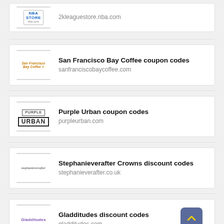2kleaguestore.nba.com
San Francisco Bay Coffee coupon codes
sanfranciscobaycoffee.com
Purple Urban coupon codes
purpleurban.com
Stephanieverafter Crowns discount codes
stephanieverafter.co.uk
Gladditudes discount codes
gladditudes.com